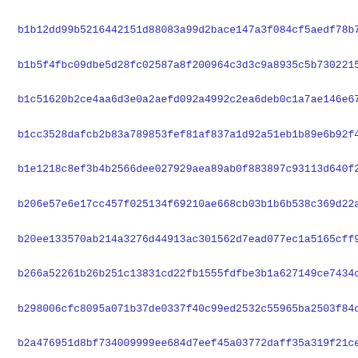b1b12dd99b5216442151d88083a99d2bace147a3f084cf5aedf78b758b0b4...
b1b5f4fbc09dbe5d28fc02587a8f200964c3d3c9a8935c5b7302215ffc46d...
b1c51620b2ce4aa6d3e0a2aefd092a4992c2ea6deb0c1a7ae146e67809715...
b1cc3528dafcb2b83a789853fef81af837a1d92a51eb1b89e6b92f476a48c...
b1e1218c8ef3b4b2566dee027929aea89ab0f883897c93113d640f2eab225...
b206e57e6e17cc457f025134f69210ae668cb03b1b6b538c369d22af5935c...
b20ee133570ab214a3276d44913ac301562d7ead077ec1a5165cff9119a81...
b266a52261b26b251c13831cd22fb1555fdfbe3b1a627149ce7434c5035d6...
b298006cfc8095a071b37de0337f40c99ed2532c55965ba2503f84c92e617...
b2a476951d8bf734009999ee684d7eef45a03772daff35a319f21ce6dc1db...